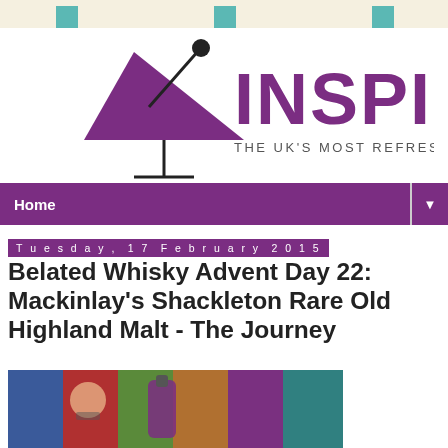[Figure (logo): INSPIRE drinks blog logo with martini glass graphic and tagline 'THE UK'S MOST REFRESHING DRINKS BLOG']
Home
Tuesday, 17 February 2015
Belated Whisky Advent Day 22: Mackinlay's Shackleton Rare Old Highland Malt - The Journey
[Figure (photo): Photo of a whisky advent calendar with a bottle of Mackinlay's Shackleton whisky in front of colorful illustrated panels]